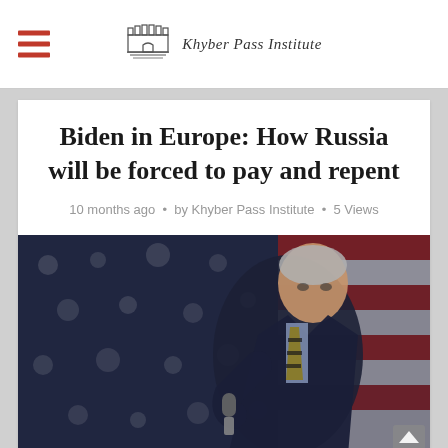Khyber Pass Institute
Biden in Europe: How Russia will be forced to pay and repent
10 months ago • by Khyber Pass Institute • 5 Views
[Figure (photo): Photo of an older man in a navy suit holding a microphone, standing in front of an American flag backdrop with stars and red/white stripes blurred in the background]